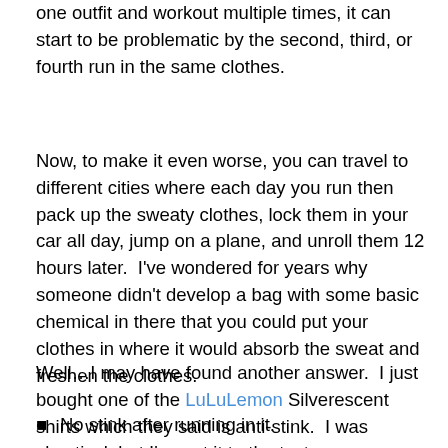one outfit and workout multiple times, it can start to be problematic by the second, third, or fourth run in the same clothes.
Now, to make it even worse, you can travel to different cities where each day you run then pack up the sweaty clothes, lock them in your car all day, jump on a plane, and unroll them 12 hours later.  I've wondered for years why someone didn't develop a bag with some basic chemical in there that you could put your clothes in where it would absorb the sweat and freshen the clothes.
Well…I may have found another answer.  I just bought one of the LuLuLemon Silverescent shirts which they said is anti-stink.  I was skeptical, but I've put it to the test.
No stink after running in it.